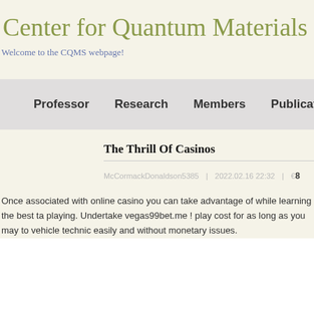Center for Quantum Materials
Welcome to the CQMS webpage!
Professor   Research   Members   Publications   Links
The Thrill Of Casinos
McCormackDonaldson5395  |  2022.02.16 22:32  |  8
Once associated with online casino you can take advantage of while learning the best ta playing. Undertake vegas99bet.me ! play cost for as long as you may to vehicle technic easily and without monetary issues.